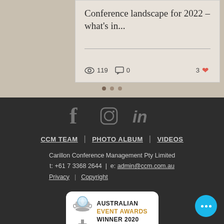Conference landscape for 2022 – what's in...
119 views · 0 comments · 3 likes
[Figure (other): Carousel navigation dots (3 dots, first active)]
[Figure (other): Social media icons: Facebook, Instagram, LinkedIn]
CCM TEAM | PHOTO ALBUM | VIDEOS
Carillon Conference Management Pty Limited
t: +61 7 3368 2644 | e: admin@ccm.com.au
Privacy | Copyright
[Figure (logo): Australian Event Awards Winner 2020 badge with trophy]